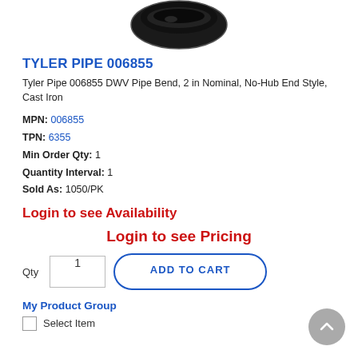[Figure (photo): Black cast iron DWV pipe bend fitting viewed from above, showing the curved opening.]
TYLER PIPE 006855
Tyler Pipe 006855 DWV Pipe Bend, 2 in Nominal, No-Hub End Style, Cast Iron
MPN: 006855
TPN: 6355
Min Order Qty: 1
Quantity Interval: 1
Sold As: 1050/PK
Login to see Availability
Login to see Pricing
Qty 1 ADD TO CART
My Product Group
Select Item